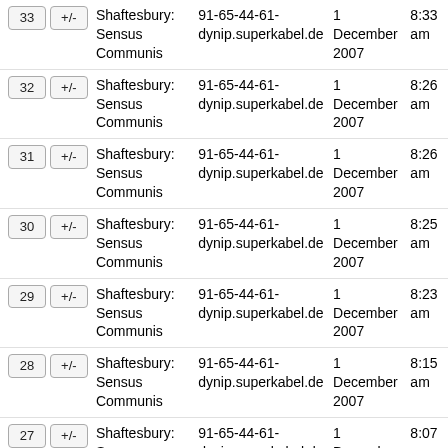| # | +/- | Title | IP | Date | Time |
| --- | --- | --- | --- | --- | --- |
| 33 | +/- | Shaftesbury: Sensus Communis | 91-65-44-61-dynip.superkabel.de | 1 December 2007 | 8:33 am |
| 32 | +/- | Shaftesbury: Sensus Communis | 91-65-44-61-dynip.superkabel.de | 1 December 2007 | 8:26 am |
| 31 | +/- | Shaftesbury: Sensus Communis | 91-65-44-61-dynip.superkabel.de | 1 December 2007 | 8:26 am |
| 30 | +/- | Shaftesbury: Sensus Communis | 91-65-44-61-dynip.superkabel.de | 1 December 2007 | 8:25 am |
| 29 | +/- | Shaftesbury: Sensus Communis | 91-65-44-61-dynip.superkabel.de | 1 December 2007 | 8:23 am |
| 28 | +/- | Shaftesbury: Sensus Communis | 91-65-44-61-dynip.superkabel.de | 1 December 2007 | 8:15 am |
| 27 | +/- | Shaftesbury: Sensus Communis | 91-65-44-61-dynip.superkabel.de | 1 December 2007 | 8:07 am |
| 26 | +/- | Shaftesbury: Sensus Communis | 91-65-44-61-dynip.superkabel.de | 1 December 2007 | 8:06 am |